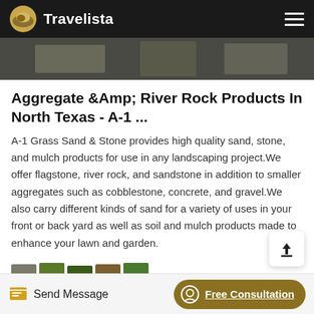Travelista
[Figure (photo): Hero image showing outdoor scene with stone/aggregate materials]
Aggregate &Amp; River Rock Products In North Texas - A-1 ...
A-1 Grass Sand & Stone provides high quality sand, stone, and mulch products for use in any landscaping project.We offer flagstone, river rock, and sandstone in addition to smaller aggregates such as cobblestone, concrete, and gravel.We also carry different kinds of sand for a variety of uses in your front or back yard as well as soil and mulch products made to enhance your lawn and garden.
[Figure (photo): Row of thumbnail images at the bottom of content area]
Send Message   Free Consultation